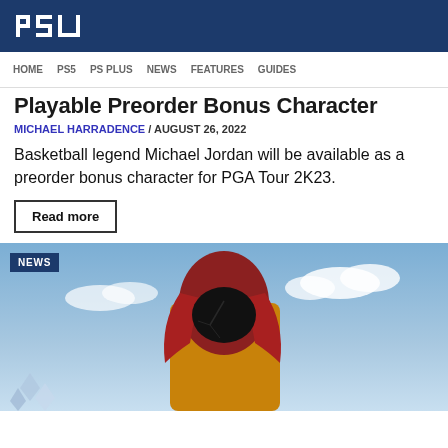PSU
HOME  PS5  PS PLUS  NEWS  FEATURES  GUIDES
Playable Preorder Bonus Character
MICHAEL HARRADENCE / AUGUST 26, 2022
Basketball legend Michael Jordan will be available as a preorder bonus character for PGA Tour 2K23.
Read more
[Figure (photo): A masked character wearing a red hood and yellow jacket against a blue sky background, with a NEWS badge overlay in the top-left corner.]